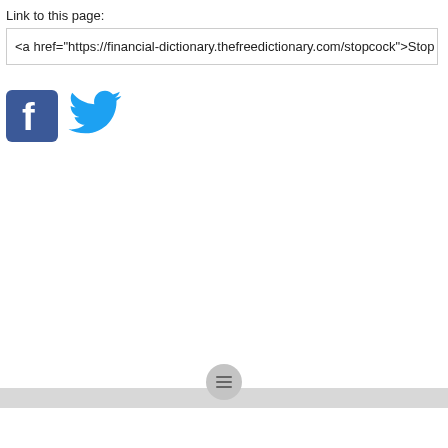Link to this page:
<a href="https://financial-dictionary.thefreedictionary.com/stopcock">Stop
[Figure (logo): Facebook logo (blue square with white 'f') and Twitter logo (blue bird) social sharing icons]